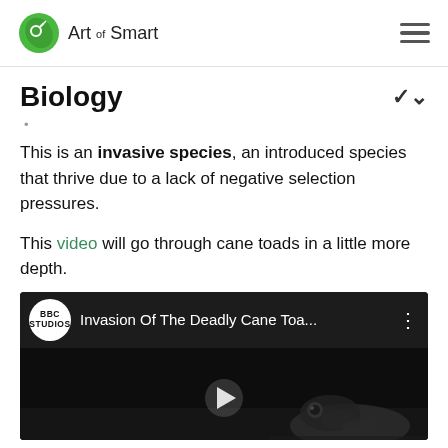Art of Smart
Biology
.
This is an invasive species, an introduced species that thrive due to a lack of negative selection pressures.
This video will go through cane toads in a little more depth.
[Figure (screenshot): YouTube video embed showing BBC Studios video titled 'Invasion Of The Deadly Cane Toa...' with a black and white thumbnail of a cane toad and a play button]